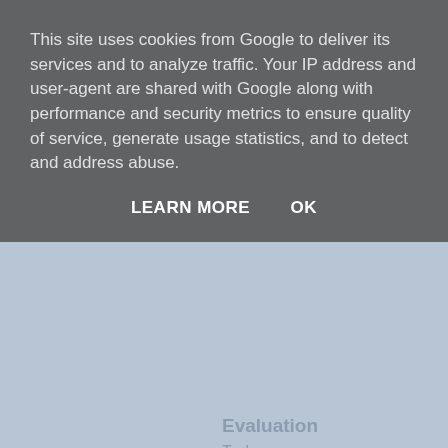This site uses cookies from Google to deliver its services and to analyze traffic. Your IP address and user-agent are shared with Google along with performance and security metrics to ensure quality of service, generate usage statistics, and to detect and address abuse.
LEARN MORE    OK
Evaluation
Trulaw
0 Comments    Them
Favorite    Twee
Start the discussio
LOG IN WITH